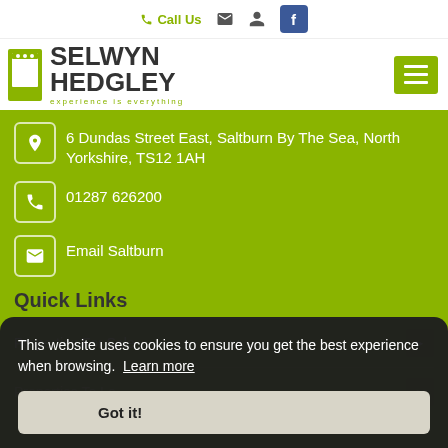Call Us
[Figure (logo): Selwyn Hedgley estate agency logo with green door icon and tagline 'experience is everything']
6 Dundas Street East, Saltburn By The Sea, North Yorkshire, TS12 1AH
01287 626200
Email Saltburn
Quick Links
Properties For Sale
Properties To Le...
This website uses cookies to ensure you get the best experience when browsing. Learn more
Got it!